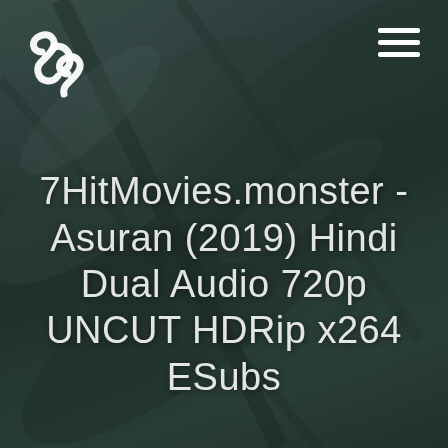[Figure (logo): White interlocking loops / chain link logo icon in top left corner]
[Figure (illustration): Dark teal/green blurred leaf background filling the entire page]
7HitMovies.monster - Asuran (2019) Hindi Dual Audio 720p UNCUT HDRip x264 ESubs